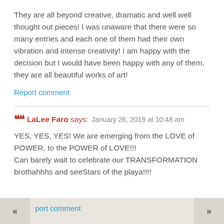They are all beyond creative, dramatic and well well thought out pieces! I was unaware that there were so many entries and each one of them had their own vibration and intense creativity! I am happy with the decision but I would have been happy with any of them, they are all beautiful works of art!
Report comment
LaLee Faro says: January 26, 2019 at 10:48 am
YES, YES, YES! We are emerging from the LOVE of POWER, to the POWER of LOVE!!!
Can barely wait to celebrate our TRANSFORMATION brothahhhs and seeStars of the playa!!!!
port comment